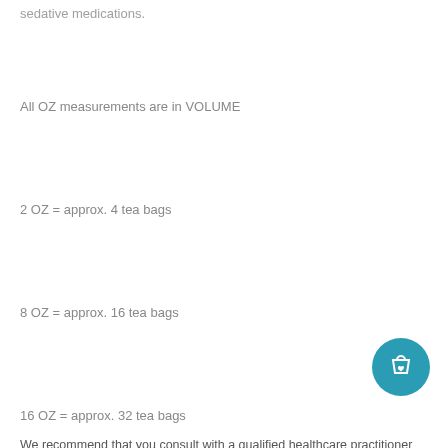sedative medications.
All OZ measurements are in VOLUME
2 OZ = approx. 4 tea bags
8 OZ = approx. 16 tea bags
16 OZ = approx. 32 tea bags
We recommend that you consult with a qualified healthcare practitioner before using herbal products, particularly if you are pregnant, nursing, or on any medications. This statement has not been evaluated by the Food and Drug Administration. This product is not intended to diagnose, treat, cure, or prevent any disease. For educational purposes only.